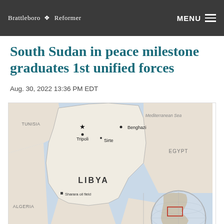Brattleboro Reformer | MENU
South Sudan in peace milestone graduates 1st unified forces
Aug. 30, 2022 13:36 PM EDT
[Figure (map): Map of Libya showing cities Tripoli (capital, marked with star), Benghazi, and Sirte; Sharara oil field in southwest; neighboring regions Tunisia, Algeria, Niger, Chad, Egypt; Mediterranean Sea to north; inset globe showing region location highlighted in red rectangle.]